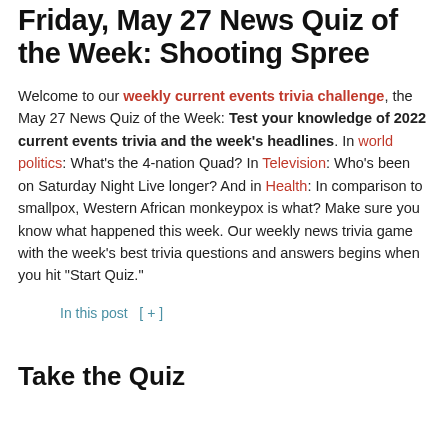Friday, May 27 News Quiz of the Week: Shooting Spree
Welcome to our weekly current events trivia challenge, the May 27 News Quiz of the Week: Test your knowledge of 2022 current events trivia and the week's headlines. In world politics: What's the 4-nation Quad? In Television: Who's been on Saturday Night Live longer? And in Health: In comparison to smallpox, Western African monkeypox is what? Make sure you know what happened this week. Our weekly news trivia game with the week's best trivia questions and answers begins when you hit “Start Quiz.”
In this post  [ + ]
Take the Quiz